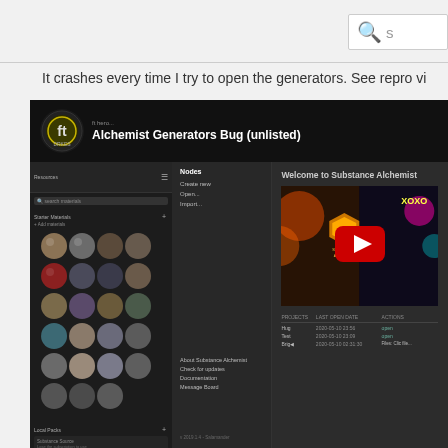It crashes every time I try to open the generators. See repro vi
[Figure (screenshot): Screenshot of a YouTube video page showing 'Alchemist Generators Bug (unlisted)' with a YouTube play button overlay on a Substance Alchemist welcome screen. The left panel shows material spheres and the right panel shows the Substance Alchemist welcome screen with a thumbnail and recent files table.]